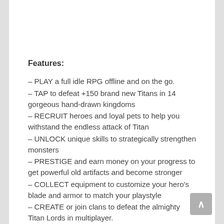Features:
– PLAY a full idle RPG offline and on the go.
– TAP to defeat +150 brand new Titans in 14 gorgeous hand-drawn kingdoms
– RECRUIT heroes and loyal pets to help you withstand the endless attack of Titan
– UNLOCK unique skills to strategically strengthen monsters
– PRESTIGE and earn money on your progress to get powerful old artifacts and become stronger
– COLLECT equipment to customize your hero's blade and armor to match your playstyle
– CREATE or join clans to defeat the almighty Titan Lords in multiplayer.